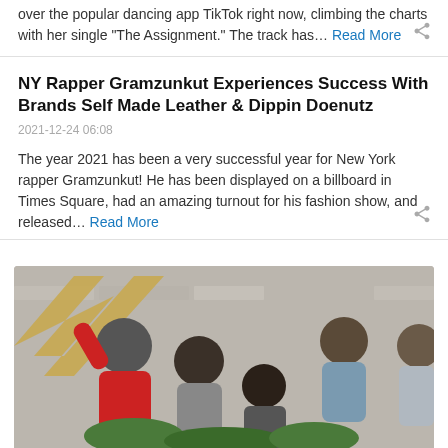over the popular dancing app TikTok right now, climbing the charts with her single "The Assignment." The track has… Read More
NY Rapper Gramzunkut Experiences Success With Brands Self Made Leather & Dippin Doenutz
2021-12-24 06:08
The year 2021 has been a very successful year for New York rapper Gramzunkut! He has been displayed on a billboard in Times Square, had an amazing turnout for his fashion show, and released… Read More
[Figure (photo): Group of joyful children outdoors near a stone wall, one with arm raised wearing a red jacket]